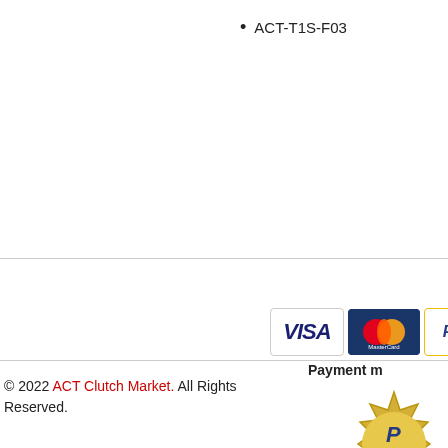ACT-T1S-F03
[Figure (logo): Payment method icons: VISA, MasterCard, PayPal, and a partially visible fourth icon]
Payment m
[Figure (logo): PayPal verified seal badge (gold/yellow starburst with text)]
© 2022 ACT Clutch Market. All Rights Reserved.